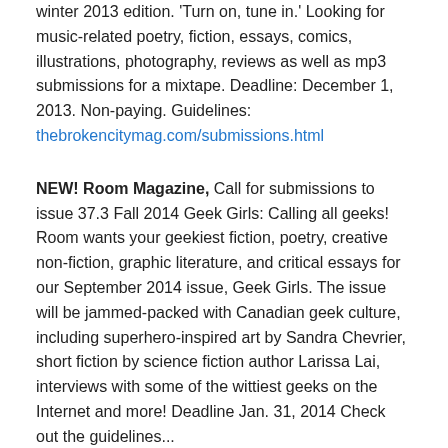winter 2013 edition. 'Turn on, tune in.' Looking for music-related poetry, fiction, essays, comics, illustrations, photography, reviews as well as mp3 submissions for a mixtape. Deadline: December 1, 2013. Non-paying. Guidelines: thebrokencitymag.com/submissions.html
NEW! Room Magazine, Call for submissions to issue 37.3 Fall 2014 Geek Girls: Calling all geeks! Room wants your geekiest fiction, poetry, creative non-fiction, graphic literature, and critical essays for our September 2014 issue, Geek Girls. The issue will be jammed-packed with Canadian geek culture, including superhero-inspired art by Sandra Chevrier, short fiction by science fiction author Larissa Lai, interviews with some of the wittiest geeks on the Internet and more! Deadline Jan. 31, 2014 Check out the guidelines...